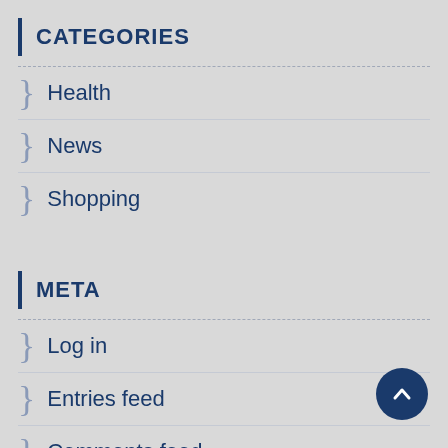CATEGORIES
Health
News
Shopping
META
Log in
Entries feed
Comments feed
WordPress.org